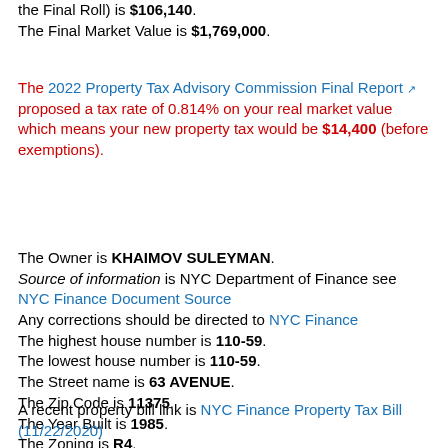the Final Roll) is $106,140. The Final Market Value is $1,769,000.
The 2022 Property Tax Advisory Commission Final Report [link] proposed a tax rate of 0.814% on your real market value which means your new property tax would be $14,400 (before exemptions).
The Owner is KHAIMOV SULEYMAN. Source of information is NYC Department of Finance see NYC Finance Document Source Any corrections should be directed to NYC Finance The highest house number is 110-59. The lowest house number is 110-59. The Street name is 63 AVENUE. The Zip Code is 11375. The Year Built is 1985. The Zoning is R4. The Borough Block and Lot ID is 4021800046.
A recent property bill link is NYC Finance Property Tax Bill (11/22/2020)